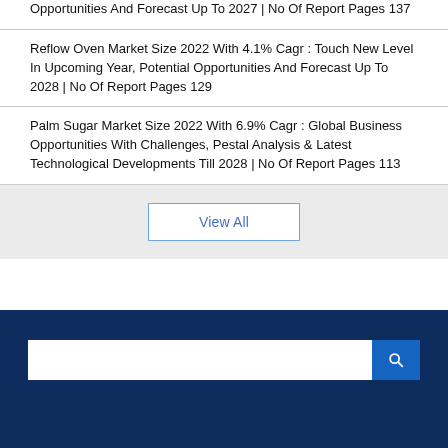Opportunities And Forecast Up To 2027 | No Of Report Pages 137
Reflow Oven Market Size 2022 With 4.1% Cagr : Touch New Level In Upcoming Year, Potential Opportunities And Forecast Up To 2028 | No Of Report Pages 129
Palm Sugar Market Size 2022 With 6.9% Cagr : Global Business Opportunities With Challenges, Pestal Analysis & Latest Technological Developments Till 2028 | No Of Report Pages 113
View All
[Figure (other): Dark navy blue footer section with a search input bar and blue search button]